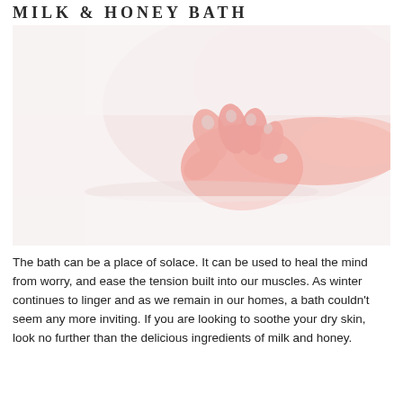MILK & HONEY BATH
[Figure (photo): A close-up photograph of a woman's hand submerged in a milky white bath, with fingers gently curled, nails with light polish, against a pale soft-pink and white background.]
The bath can be a place of solace. It can be used to heal the mind from worry, and ease the tension built into our muscles. As winter continues to linger and as we remain in our homes, a bath couldn't seem any more inviting. If you are looking to soothe your dry skin, look no further than the delicious ingredients of milk and honey.